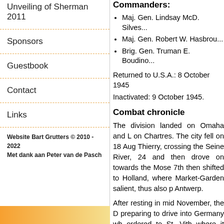Unveiling of Sherman 2011
Sponsors
Guestbook
Contact
Links
Website Bart Grutters © 2010 - 2022
Met dank aan Peter van de Pasch
Commanders:
Maj. Gen. Lindsay McD. Silves...
Maj. Gen. Robert W. Hasbrou...
Brig. Gen. Truman E. Boudino...
Returned to U.S.A.: 8 October 1945
Inactivated: 9 October 1945.
Combat chronicle
The division landed on Omaha and L... on Chartres. The city fell on 18 Aug... Thierry, crossing the Seine River, 24... and then drove on towards the Mose... 7th then shifted to Holland, where... Market-Garden salient, thus also p... Antwerp.
After resting in mid November, the D... preparing to drive into Germany wh... ordered to St. Vith where it absorbe... Salm River, 23 December. It shifted t...